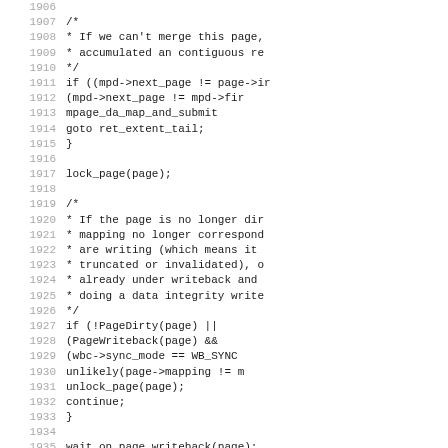[Figure (screenshot): Source code listing showing C code lines 1906-1938, with line numbers on the left in gray and code on the right in monospace font. The code shows page writeback logic including comments about merging pages, lock_page, PageDirty/PageWriteback checks, and wait_on_page_writeback calls.]